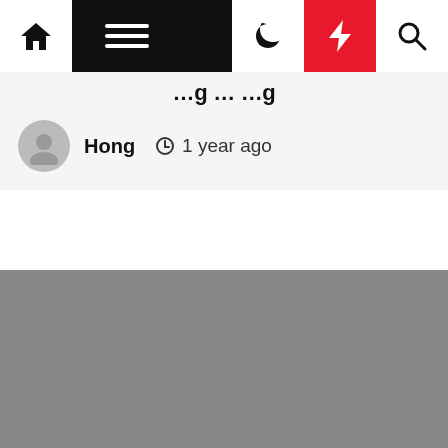Navigation bar with home, menu, moon, bolt, and search icons
Hong  1 year ago
[Figure (photo): Gray placeholder image for article thumbnail]
Ring
Diamond Jewelry: Favorably Impacting